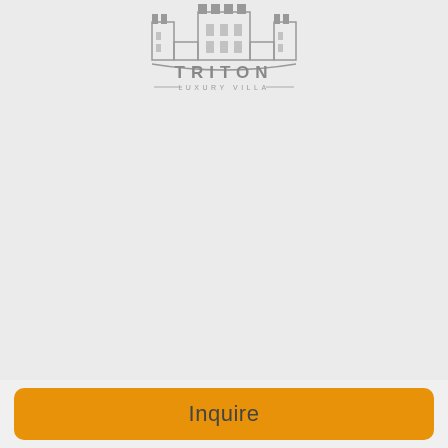[Figure (logo): Triton Luxury Villa logo with castle/building illustration in gray and text 'TRITON LUXURY VILLA' below]
Inquire